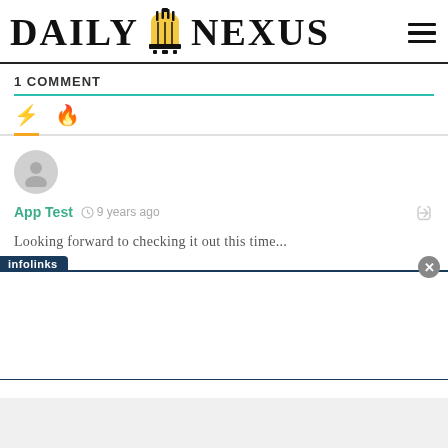DAILY NEXUS
1 COMMENT
App Test  9 years ago
Looking forward to checking it out this time...